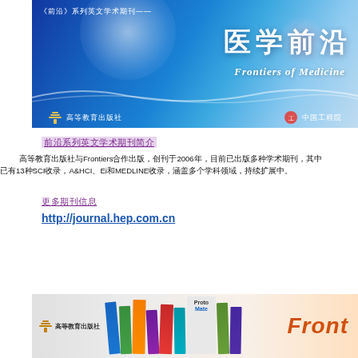[Figure (illustration): Blue gradient banner for Frontiers of Medicine journal showing Chinese title 医学前沿, subtitle 前沿 series English academic journal, publisher logos for Higher Education Press and Chinese Academy of Engineering]
前沿系列英文学术期刊简介
高等教育出版社与Frontiers合作出版，创刊于2006年，目前已出版多种学术期刊，其中13种SCI收录，A&HCI、Ei和MEDLINE收录，涵盖多个学科领域。
更多期刊信息
http://journal.hep.com.cn
[Figure (illustration): Banner showing stacked journal covers from Frontiers series with Higher Education Press logo and orange Frontiers branding text]